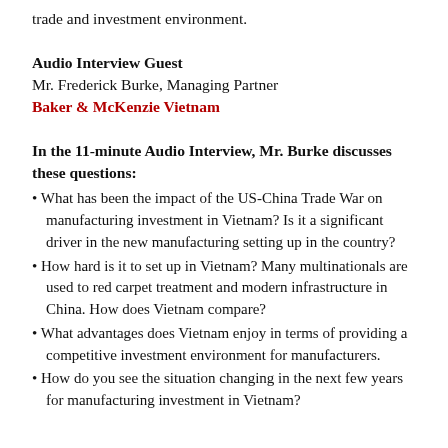trade and investment environment.
Audio Interview Guest
Mr. Frederick Burke, Managing Partner
Baker & McKenzie Vietnam
In the 11-minute Audio Interview, Mr. Burke discusses these questions:
• What has been the impact of the US-China Trade War on manufacturing investment in Vietnam? Is it a significant driver in the new manufacturing setting up in the country?
• How hard is it to set up in Vietnam? Many multinationals are used to red carpet treatment and modern infrastructure in China. How does Vietnam compare?
• What advantages does Vietnam enjoy in terms of providing a competitive investment environment for manufacturers.
• How do you see the situation changing in the next few years for manufacturing investment in Vietnam?